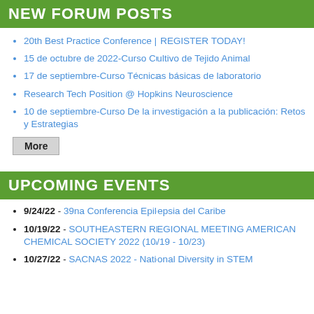NEW FORUM POSTS
20th Best Practice Conference | REGISTER TODAY!
15 de octubre de 2022-Curso Cultivo de Tejido Animal
17 de septiembre-Curso Técnicas básicas de laboratorio
Research Tech Position @ Hopkins Neuroscience
10 de septiembre-Curso De la investigación a la publicación: Retos y Estrategias
More
UPCOMING EVENTS
9/24/22 - 39na Conferencia Epilepsia del Caribe
10/19/22 - SOUTHEASTERN REGIONAL MEETING AMERICAN CHEMICAL SOCIETY 2022 (10/19 - 10/23)
10/27/22 - SACNAS 2022 - National Diversity in STEM